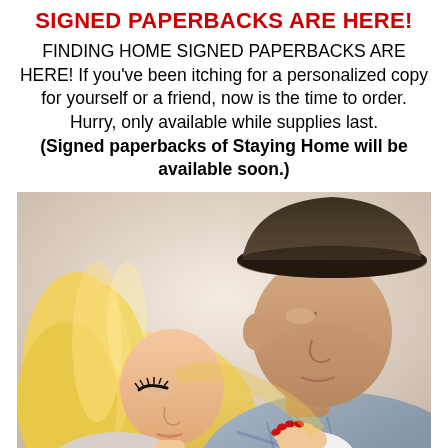SIGNED PAPERBACKS ARE HERE!
FINDING HOME SIGNED PAPERBACKS ARE HERE! If you've been itching for a personalized copy for yourself or a friend, now is the time to order. Hurry, only available while supplies last. (Signed paperbacks of Staying Home will be available soon.)
[Figure (photo): A romantic photo of a blonde woman and a man wearing a cowboy hat leaning close together, the woman resting her head near his shoulder, the man looking down toward her. The woman has long blonde hair and dramatic eye makeup, the man wears a plaid shirt and a woven dark hat. Her red-nailed hand rests on his shoulder/chest.]